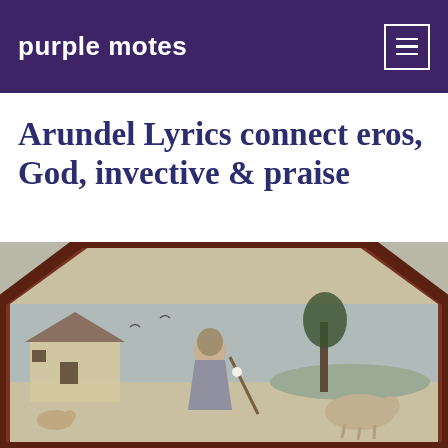purple motes
Arundel Lyrics connect eros, God, invective & praise
[Figure (photo): A medieval painting detail showing an elderly figure with a staff in a landscape with a bare tree, a rustic building, and animals. The image is cropped in an octagonal/arched frame with a dark reddish-brown border.]